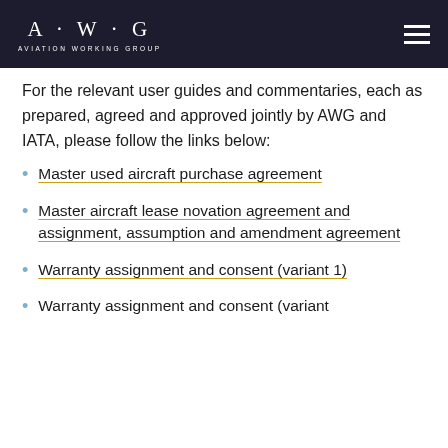A·W·G Aviation Working Group
For the relevant user guides and commentaries, each as prepared, agreed and approved jointly by AWG and IATA, please follow the links below:
Master used aircraft purchase agreement
Master aircraft lease novation agreement and assignment, assumption and amendment agreement
Warranty assignment and consent (variant 1)
Warranty assignment and consent (variant